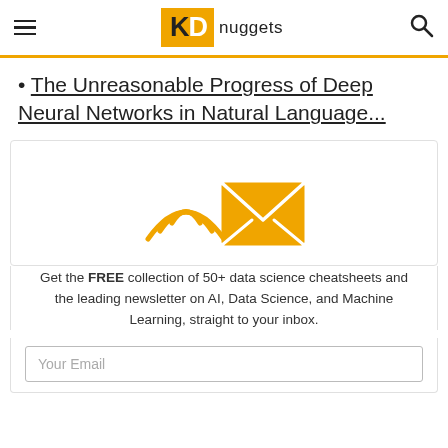KD nuggets
The Unreasonable Progress of Deep Neural Networks in Natural Language...
[Figure (illustration): Email newsletter icon: an envelope with wifi/signal waves on the left side, drawn in orange/gold color.]
Get the FREE collection of 50+ data science cheatsheets and the leading newsletter on AI, Data Science, and Machine Learning, straight to your inbox.
Your Email